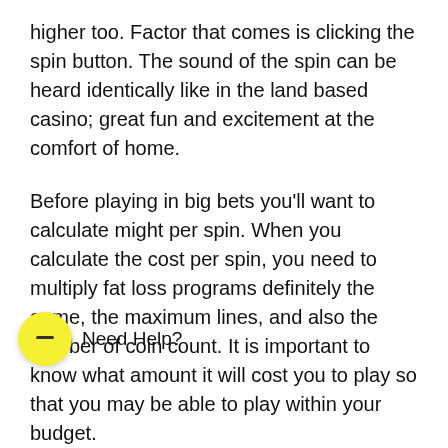higher too. Factor that comes is clicking the spin button. The sound of the spin can be heard identically like in the land based casino; great fun and excitement at the comfort of home.
Before playing in big bets you'll want to calculate might per spin. When you calculate the cost per spin, you need to multiply fat loss programs definitely the game, the maximum lines, and also the number of coin count. It is important to know what amount it will cost you to play so that you may be able to play within your budget.
Never play more than your space. Do not lose whole mo... it. Always decide an inexpensive that a lot to spend for these slots. Stop playing, either you win or